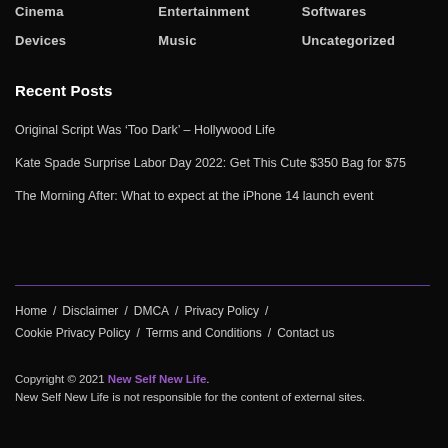Cinema
Entertainment
Softwares
Devices
Music
Uncategorized
Recent Posts
Original Script Was ‘Too Dark’ – Hollywood Life
Kate Spade Surprise Labor Day 2022: Get This Cute $350 Bag for $75
The Morning After: What to expect at the iPhone 14 launch event
Home / Disclaimer / DMCA / Privacy Policy / Cookie Privacy Policy / Terms and Conditions / Contact us
Copyright © 2021 New Self New Life. New Self New Life is not responsible for the content of external sites.